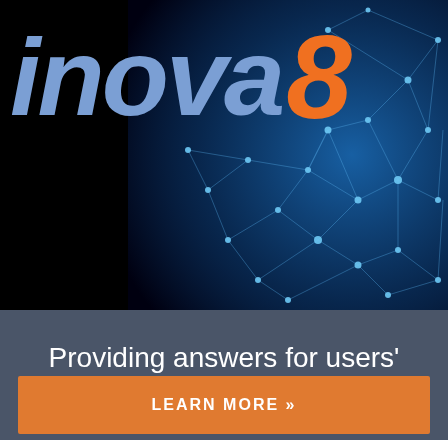[Figure (logo): inova8 logo with blue-gray italic text 'inova' and orange '8', on dark background with blue network/tech geometric graphic on right side]
Providing answers for users' information questions.
LEARN MORE »